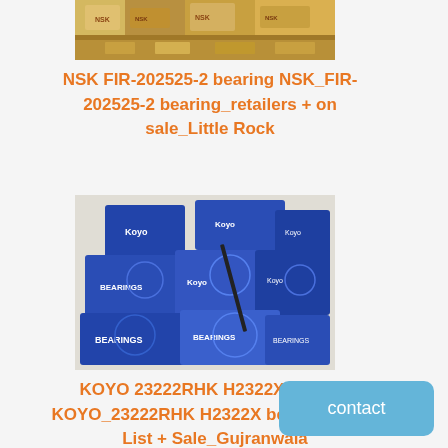[Figure (photo): Photo of NSK bearing boxes stacked in yellow/brown tones]
NSK FIR-202525-2 bearing NSK_FIR-202525-2 bearing_retailers + on sale_Little Rock
[Figure (photo): Photo of Koyo bearing boxes in blue packaging stacked together]
KOYO 23222RHK H2322X bearing KOYO_23222RHK H2322X bearing_Price List + Sale_Gujranwala
contact